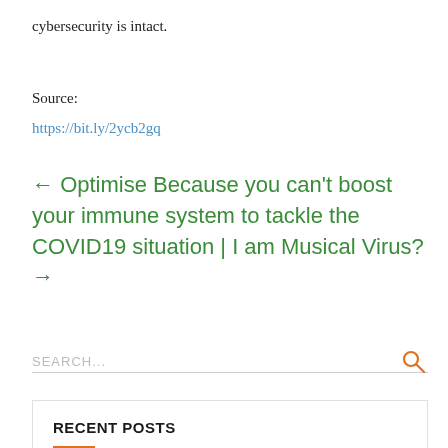cybersecurity is intact.
Source:
https://bit.ly/2ycb2gq
← Optimise Because you can't boost your immune system to tackle the COVID19 situation | I am Musical Virus? →
SEARCH...
RECENT POSTS